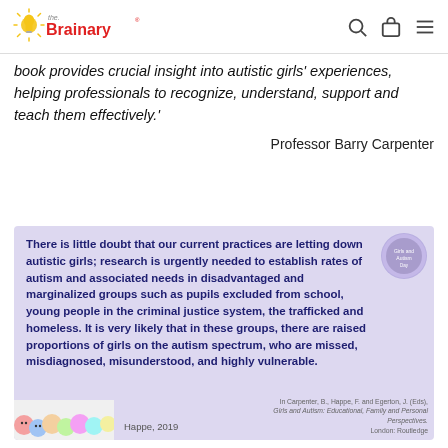the Brainary
book provides crucial insight into autistic girls' experiences, helping professionals to recognize, understand, support and teach them effectively.'
Professor Barry Carpenter
[Figure (infographic): Purple background card with bold dark blue text quoting Happe 2019 about autistic girls being let down by current practices, with a circular badge in top right and illustrated faces at bottom left.]
Happe, 2019
In Carpenter, B., Happe, F. and Egerton, J. (Eds), Girls and Autism: Educational, Family and Personal Perspectives. London: Routledge